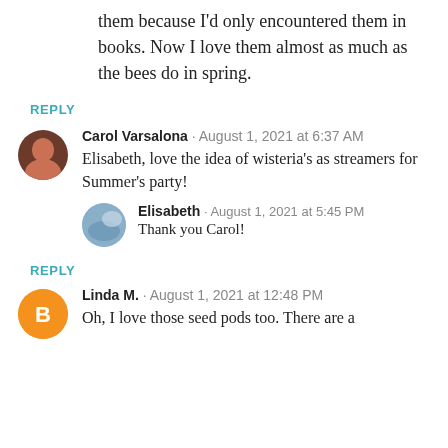them because I'd only encountered them in books. Now I love them almost as much as the bees do in spring.
REPLY
Carol Varsalona · August 1, 2021 at 6:37 AM
Elisabeth, love the idea of wisteria's as streamers for Summer's party!
Elisabeth · August 1, 2021 at 5:45 PM
Thank you Carol!
REPLY
Linda M. · August 1, 2021 at 12:48 PM
Oh, I love those seed pods too. There are a